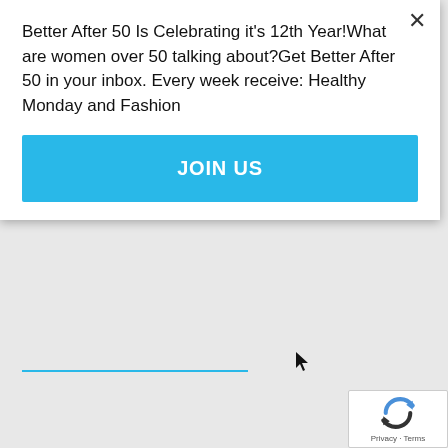Better After 50 Is Celebrating it's 12th Year!What are women over 50 talking about?Get Better After 50 in your inbox. Every week receive: Healthy Monday and Fashion
JOIN US
[Figure (logo): reCAPTCHA badge with spinning arrows icon and Privacy - Terms text]